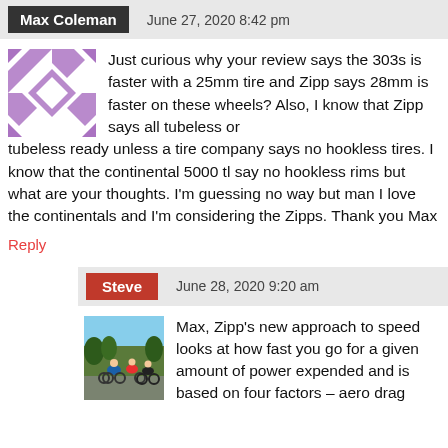Max Coleman — June 27, 2020 8:42 pm
Just curious why your review says the 303s is faster with a 25mm tire and Zipp says 28mm is faster on these wheels? Also, I know that Zipp says all tubeless or tubeless ready unless a tire company says no hookless tires. I know that the continental 5000 tl say no hookless rims but what are your thoughts. I'm guessing no way but man I love the continentals and I'm considering the Zipps. Thank you Max
Reply
Steve — June 28, 2020 9:20 am
Max, Zipp's new approach to speed looks at how fast you go for a given amount of power expended and is based on four factors – aero drag